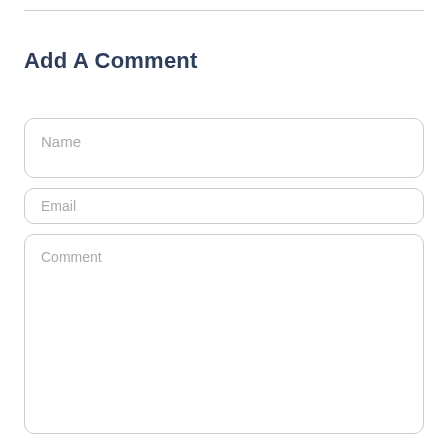Add A Comment
Name
Email
Comment